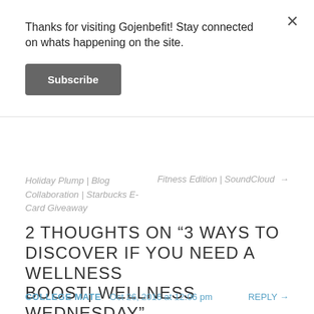Thanks for visiting Gojenbefit! Stay connected on whats happening on the site.
Subscribe
Holiday Plump | Blog Collaboration | Starbucks E-Card Giveaway
Fitness Edition | SoundCloud →
2 THOUGHTS ON "3 WAYS TO DISCOVER IF YOU NEED A WELLNESS BOOST| WELLNESS WEDNESDAY"
COLLEGE MATE   Oct 26, 2016 at 12:06 pm   REPLY →